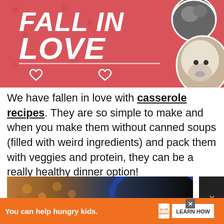[Figure (illustration): Advertisement banner with pink/red background showing text 'FALL IN LOVE' in large white italic bold letters, white heart outlines, and circular photos of a cat and a fluffy white puppy on the right side]
We have fallen in love with casserole recipes. They are so simple to make and when you make them without canned soups (filled with weird ingredients) and pack them with veggies and protein, they can be a really healthy dinner option!
[Figure (photo): Partially visible photo of a casserole dish with food — browned meat and vegetables visible on the left, dark blue ceramic dish on the right]
[Figure (infographic): Orange advertisement banner at the bottom reading 'You can help hungry kids.' with No Kid Hungry logo and a 'LEARN HOW' white button]